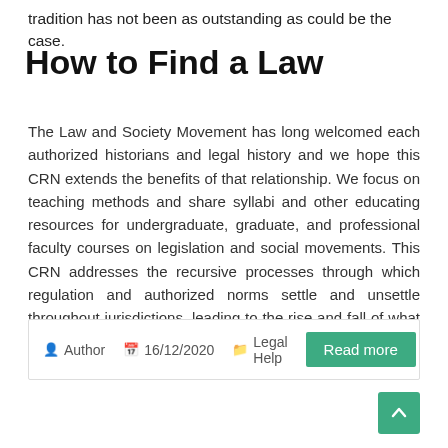tradition has not been as outstanding as could be the case.
How to Find a Law
The Law and Society Movement has long welcomed each authorized historians and legal history and we hope this CRN extends the benefits of that relationship. We focus on teaching methods and share syllabi and other educating resources for undergraduate, graduate, and professional faculty courses on legislation and social movements. This CRN addresses the recursive processes through which regulation and authorized norms settle and unsettle throughout jurisdictions, leading to the rise and fall of what could be viewed as transnational ... Read More
Author  16/12/2020  Legal Help
Read more